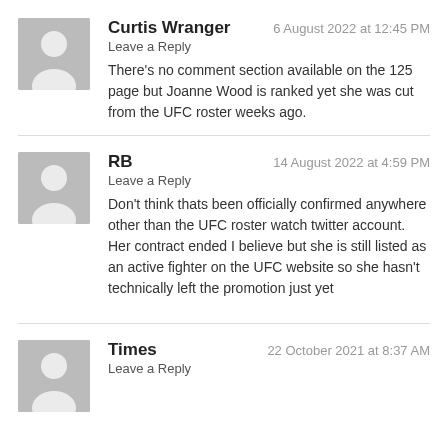Curtis Wranger — 6 August 2022 at 12:45 PM
Leave a Reply
There's no comment section available on the 125 page but Joanne Wood is ranked yet she was cut from the UFC roster weeks ago.
RB — 14 August 2022 at 4:59 PM
Leave a Reply
Don't think thats been officially confirmed anywhere other than the UFC roster watch twitter account. Her contract ended I believe but she is still listed as an active fighter on the UFC website so she hasn't technically left the promotion just yet
Times — 22 October 2021 at 8:37 AM
Leave a Reply